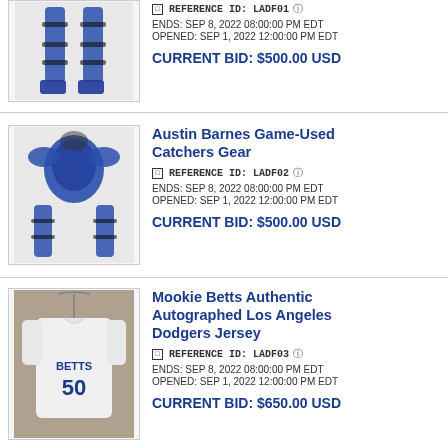[Figure (photo): Blue catchers leg guards/shin guards on display]
REFERENCE ID: LADF01
ENDS: SEP 8, 2022 08:00:00 PM EDT
OPENED: SEP 1, 2022 12:00:00 PM EDT
CURRENT BID: $500.00 USD
Austin Barnes Game-Used Catchers Gear
[Figure (photo): Blue catchers chest protector and leg guards gear set]
REFERENCE ID: LADF02
ENDS: SEP 8, 2022 08:00:00 PM EDT
OPENED: SEP 1, 2022 12:00:00 PM EDT
CURRENT BID: $500.00 USD
Mookie Betts Authentic Autographed Los Angeles Dodgers Jersey
[Figure (photo): White Dodgers jersey with BETTS 50 on display hanger]
REFERENCE ID: LADF03
ENDS: SEP 8, 2022 08:00:00 PM EDT
OPENED: SEP 1, 2022 12:00:00 PM EDT
CURRENT BID: $650.00 USD
Cody Bellinger Authentic Autographed Los Angeles
[Figure (photo): Partial view of Cody Bellinger item]